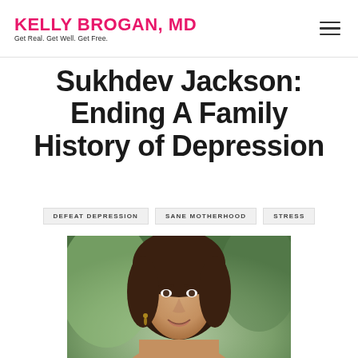KELLY BROGAN, MD — Get Real. Get Well. Get Free.
Sukhdev Jackson: Ending A Family History of Depression
DEFEAT DEPRESSION
SANE MOTHERHOOD
STRESS
[Figure (photo): Portrait photo of a woman with brown hair, smiling, wearing earrings, outdoor background]